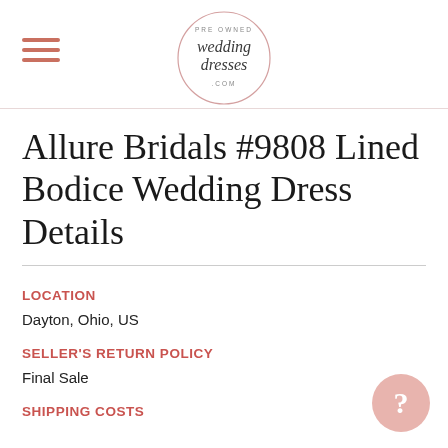Pre Owned Wedding Dresses .com
Allure Bridals #9808 Lined Bodice Wedding Dress Details
LOCATION
Dayton, Ohio, US
SELLER'S RETURN POLICY
Final Sale
SHIPPING COSTS